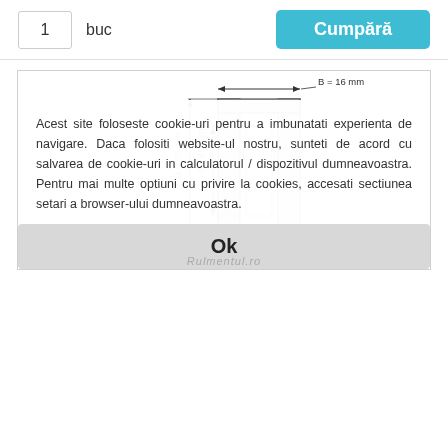1  buc
Cumpără
[Figure (engineering-diagram): Cross-section technical drawing of a ball bearing showing outer diameter D = 75 mm, inner diameter d = 45 mm, and width B = 16 mm. The bearing is shown with dimensional arrows and labels.]
Acest site foloseste cookie-uri pentru a imbunatati experienta de navigare. Daca folositi website-ul nostru, sunteti de acord cu salvarea de cookie-uri in calculatorul / dispozitivul dumneavoastra. Pentru mai multe optiuni cu privire la cookies, accesati sectiunea setari a browser-ului dumneavoastra.
Ok